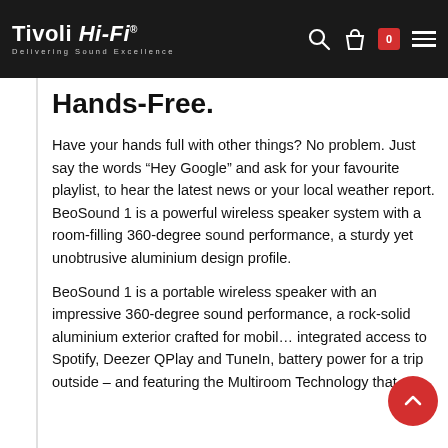Tivoli Hi-Fi | Delivering Sound Excellence
Hands-Free.
Have your hands full with other things? No problem. Just say the words “Hey Google” and ask for your favourite playlist, to hear the latest news or your local weather report. BeoSound 1 is a powerful wireless speaker system with a room-filling 360-degree sound performance, a sturdy yet unobtrusive aluminium design profile.
BeoSound 1 is a portable wireless speaker with an impressive 360-degree sound performance, a rock-solid aluminium exterior crafted for mobility, integrated access to Spotify, Deezer QPlay and TuneIn, battery power for a trip outside – and featuring the Multiroom Technology that